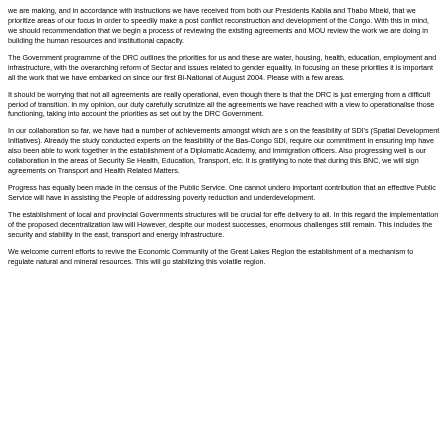we are making, and in accordance with instructions we have received from both our Presidents Kabila and Thabo Mbeki, that we prioritize areas of our focus in order to speedily make a post conflict reconstruction and development of the Congo. With this in mind, we should recommendation that we begin a process of reviewing the existing agreements and MOU review the work we are doing in building the human resources and institutional capacity.
The Government programme of the DRC outlines the priorities for us and these are water, housing, health, education, employment and infrastructure, with the overarching reform of the Sector and issues related to gender equality. In focusing on these priorities it is important all the work that we have embarked on since our first Bi-National of August 2004. Please with a few areas.
It should be worrying that not all agreements are really operational, even though there is that the DRC is just emerging from a difficult period of transition. In my opinion, our duty carefully scrutinize all the agreements we have reached with a view to operationalise those functioning, taking into account the priorities as set out by the DRC Government.
In our collaboration so far, we have had a number of achievements amongst which are s on the feasibility of SDI's (Spatial Development Initiatives). Already the study conducted experts on the feasibility of the Bas-Congo SDI, require our commitment in ensuring imp have also been able to work together in the establishment of a Diplomatic Academy, and immigration officers. Also progressing well is our collaboration in the areas of Security Se Health, Education, Transport, etc. It is gratifying to note that during this BNC, we will sign agreements on Transport and Health Related Matters.
Progress has equally been made in the census of the Public Service. One cannot undere important contribution that an effective Public Service will have in assisting the People of addressing poverty reduction and underdevelopment.
The establishment of local and provincial Governments structures will be crucial for effe delivery to all. In this regard the implementation of the proposed decentralization law will However, despite our modest successes, enormous challenges still remain. This includes the security and stability in the east, transport and energy infrastructure.
We welcome current efforts to revive the Economic Community of the Great Lakes Region the establishment of a mechanism to regulate natural and mineral resources. This will go stabilizing this volatile region.